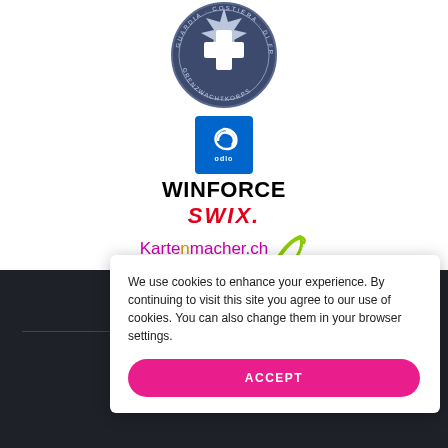[Figure (logo): Swiss border guard circular badge/emblem with cross and star design, dark blue/navy color]
[Figure (logo): Odlo blue square logo]
WINFORCE
swix
[Figure (logo): Kartenmacher.ch logo with leaf/wing graphic, purple and green]
CONTACT ON MANAGEMENT:
Gasparin sister
We use cookies to enhance your experience. By continuing to visit this site you agree to our use of cookies. You can also change them in your browser settings.
ACCEPT
© 2022 G
All images are subj